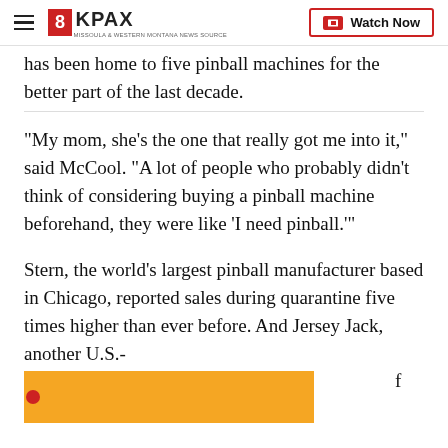8KPAX | Watch Now
has been home to five pinball machines for the better part of the last decade.
“My mom, she’s the one that really got me into it,” said McCool. “A lot of people who probably didn’t think of considering buying a pinball machine beforehand, they were like ‘I need pinball.’”
Stern, the world’s largest pinball manufacturer based in Chicago, reported sales during quarantine five times higher than ever before. And Jersey Jack, another U.S.-based [obscured] f its newe[obscured]